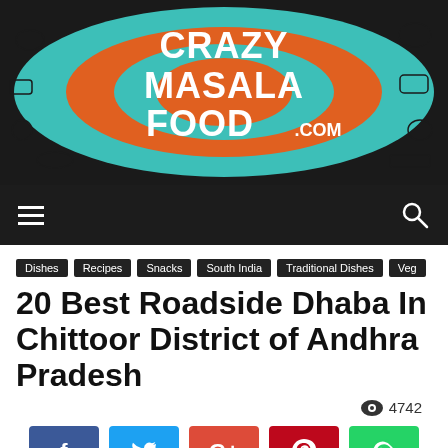[Figure (logo): Crazy Masala Food .com logo with concentric circles and food illustrations on orange/teal background]
[Figure (screenshot): Dark navigation bar with hamburger menu icon on left and search icon on right]
Dishes
Recipes
Snacks
South India
Traditional Dishes
Veg
20 Best Roadside Dhaba In Chittoor District of Andhra Pradesh
4742
[Figure (infographic): Social share buttons: Facebook (blue), Twitter (light blue), Google+ (red-orange), Pinterest (dark red), WhatsApp (green)]